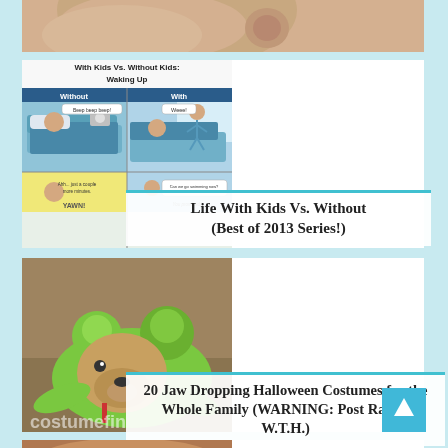[Figure (photo): Partial view of a baby's head/ear, cropped at top of page]
[Figure (illustration): Comic strip titled 'With Kids Vs. Without Kids: Waking Up' showing panels comparing morning routines with and without children]
Life With Kids Vs. Without (Best of 2013 Series!)
[Figure (photo): Photo of a dog wearing a green frog Halloween costume, lying on the floor]
20 Jaw Dropping Halloween Costumes for the Whole Family (WARNING: Post Rated: W.T.H.)